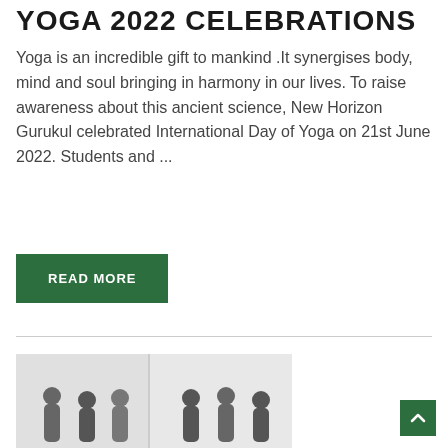YOGA 2022 CELEBRATIONS
Yoga is an incredible gift to mankind .It synergises body, mind and soul bringing in harmony in our lives. To raise awareness about this ancient science, New Horizon Gurukul celebrated International Day of Yoga on 21st June 2022. Students and ...
READ MORE
[Figure (photo): Group photo of students at New Horizon Gurukul, shown in a two-panel collage format with students posing in a classroom or hall setting. The image is partially visible at the bottom of the page.]